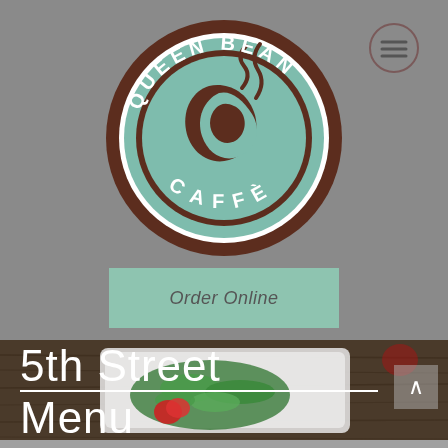[Figure (logo): Queen Bean Caffe circular logo with brown border, teal center, and coffee bean/steam design. Text reads QUEEN BEAN CAFFE around the circle.]
[Figure (other): Hamburger menu icon (three horizontal lines) in a circle outline, top right corner]
Order Online
[Figure (photo): Photo of a salad plate with green spinach leaves and red strawberries on a white rectangular plate, on a dark wood table. Overlaid with large white text '5th Street Menu' with white underlines.]
5th Street Menu